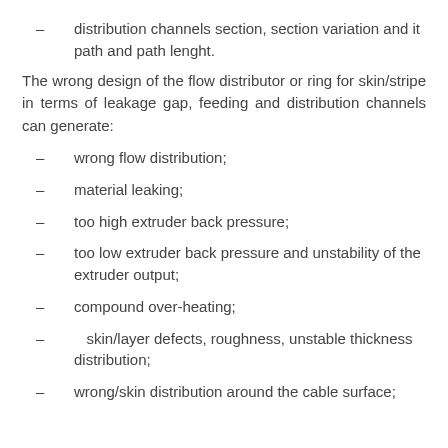distribution channels section, section variation and it path and path lenght.
The wrong design of the flow distributor or ring for skin/stripe in terms of leakage gap, feeding and distribution channels can generate:
wrong flow distribution;
material leaking;
too high extruder back pressure;
too low extruder back pressure and unstability of the extruder output;
compound over-heating;
skin/layer defects, roughness, unstable thickness distribution;
wrong/skin distribution around the cable surface;